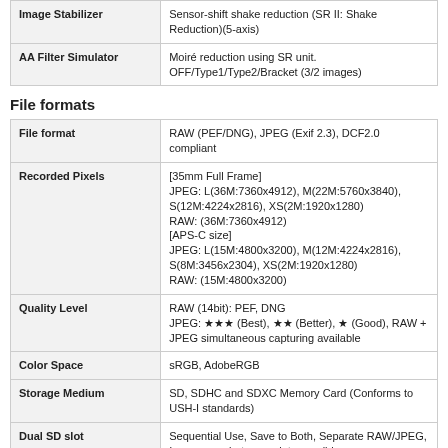| Image Stabilizer | Sensor-shift shake reduction (SR II: Shake Reduction)(5-axis) |
| AA Filter Simulator | Moiré reduction using SR unit. OFF/Type1/Type2/Bracket (3/2 images) |
File formats
| File format | RAW (PEF/DNG), JPEG (Exif 2.3), DCF2.0 compliant |
| Recorded Pixels | [35mm Full Frame]
JPEG: L(36M:7360x4912), M(22M:5760x3840), S(12M:4224x2816), XS(2M:1920x1280)
RAW: (36M:7360x4912)
[APS-C size]
JPEG: L(15M:4800x3200), M(12M:4224x2816), S(8M:3456x2304), XS(2M:1920x1280)
RAW: (15M:4800x3200) |
| Quality Level | RAW (14bit): PEF, DNG
JPEG: ★★★ (Best), ★★ (Better), ★ (Good), RAW + JPEG simultaneous capturing available |
| Color Space | sRGB, AdobeRGB |
| Storage Medium | SD, SDHC and SDXC Memory Card (Conforms to USH-I standards) |
| Dual SD slot | Sequential Use, Save to Both, Separate RAW/JPEG, Image copy between slots possible |